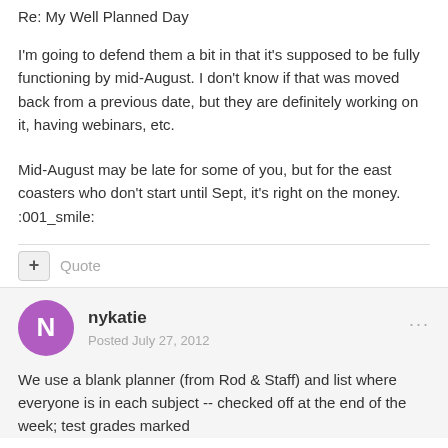Re: My Well Planned Day
I'm going to defend them a bit in that it's supposed to be fully functioning by mid-August. I don't know if that was moved back from a previous date, but they are definitely working on it, having webinars, etc.
Mid-August may be late for some of you, but for the east coasters who don't start until Sept, it's right on the money. :001_smile:
nykatie
Posted July 27, 2012
We use a blank planner (from Rod & Staff) and list where everyone is in each subject -- checked off at the end of the week; test grades marked